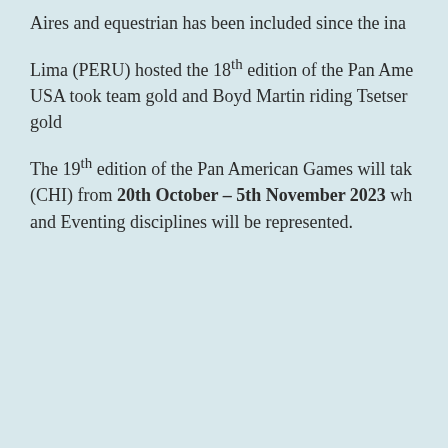Aires and equestrian has been included since the ina
Lima (PERU) hosted the 18th edition of the Pan Ame USA took team gold and Boyd Martin riding Tsetser gold
The 19th edition of the Pan American Games will tak (CHI) from 20th October – 5th November 2023 wh and Eventing disciplines will be represented.